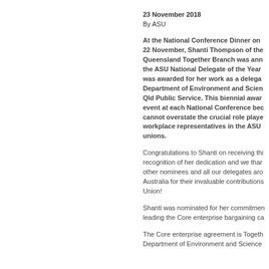23 November 2018
By ASU
At the National Conference Dinner on 22 November, Shanti Thompson of the Queensland Together Branch was announced the ASU National Delegate of the Year. It was awarded for her work as a delegate in the Department of Environment and Science in the Qld Public Service. This biennial award is an event at each National Conference because we cannot overstate the crucial role played by workplace representatives in the ASU and all unions.
Congratulations to Shanti on receiving this recognition of her dedication and we thank all other nominees and all our delegates around Australia for their invaluable contributions to the Union!
Shanti was nominated for her commitment to leading the Core enterprise bargaining ca...
The Core enterprise agreement is Together Department of Environment and Science...